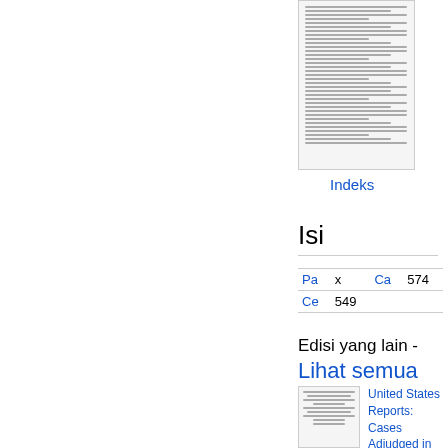[Figure (illustration): Thumbnail image of a book page showing index content with small dense text]
Indeks
Isi
| Pa | x | Ca | 574 |
| --- | --- | --- | --- |
| Ce | 549 |  |  |
Edisi yang lain -
Lihat semua
[Figure (illustration): Thumbnail of United States Reports book cover]
United States Reports: Cases Adjudged in the Supreme Court at ...